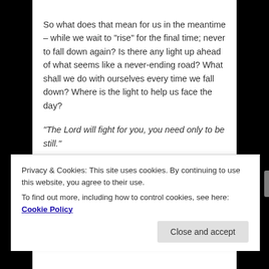So what does that mean for us in the meantime – while we wait to “rise” for the final time; never to fall down again? Is there any light up ahead of what seems like a never-ending road? What shall we do with ourselves every time we fall down? Where is the light to help us face the day?
“The Lord will fight for you, you need only to be still.” Exodus 14:14
Privacy & Cookies: This site uses cookies. By continuing to use this website, you agree to their use. To find out more, including how to control cookies, see here: Cookie Policy